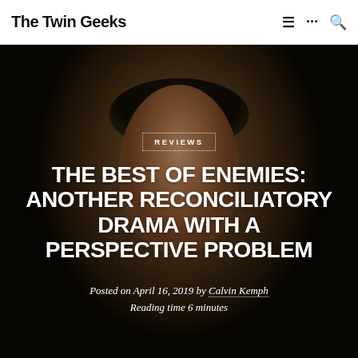The Twin Geeks
[Figure (photo): Close-up portrait of a Black woman with natural afro hair, looking directly at the camera with a serious expression, in a muted indoor setting. The image serves as the hero background for the article.]
REVIEWS
THE BEST OF ENEMIES: ANOTHER RECONCILIATORY DRAMA WITH A PERSPECTIVE PROBLEM
Posted on April 16, 2019 by Calvin Kemph
Reading time 6 minutes